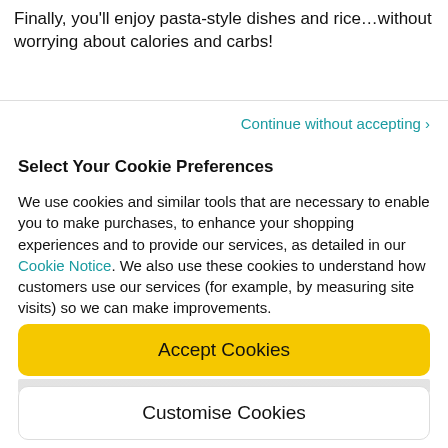Finally, you'll enjoy pasta-style dishes and rice…without worrying about calories and carbs!
Continue without accepting ›
Select Your Cookie Preferences
We use cookies and similar tools that are necessary to enable you to make purchases, to enhance your shopping experiences and to provide our services, as detailed in our Cookie Notice. We also use these cookies to understand how customers use our services (for example, by measuring site visits) so we can make improvements.
If you agree, we'll also use cookies to complement your
Accept Cookies
Customise Cookies